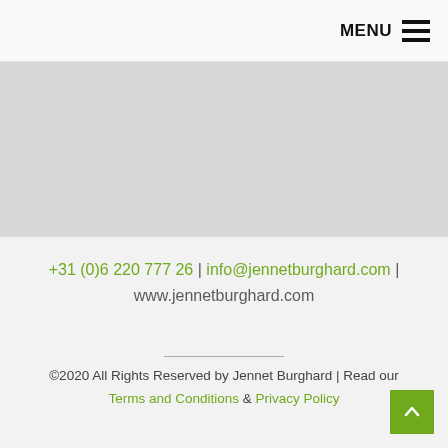MENU ☰
[Figure (other): Gray placeholder/image block]
+31 (0)6 220 777 26 | info@jennetburghard.com | www.jennetburghard.com
©2020 All Rights Reserved by Jennet Burghard | Read our Terms and Conditions & Privacy Policy